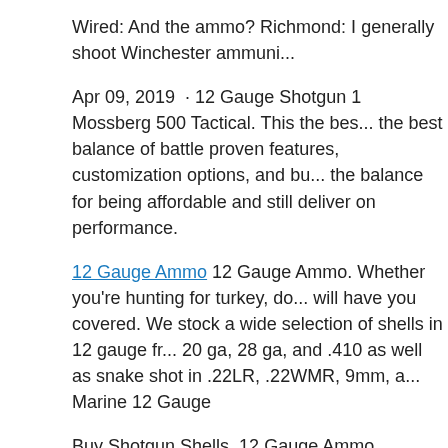Wired: And the ammo? Richmond: I generally shoot Winchester ammuni...
Apr 09, 2019  · 12 Gauge Shotgun 1 Mossberg 500 Tactical. This the bes... the best balance of battle proven features, customization options, and bu... the balance for being affordable and still deliver on performance.
12 Gauge Ammo 12 Gauge Ammo. Whether you're hunting for turkey, do... will have you covered. We stock a wide selection of shells in 12 gauge fr... 20 ga, 28 ga, and .410 as well as snake shot in .22LR, .22WMR, 9mm, a... Marine 12 Gauge
Buy Shotgun Shells, 12 Gauge Ammo, Shotgun Ammo, Shotgun Ammun... Accessories. Shop shotguns & more at Academy. When it comes to amm... pick from all sorts of gauges and shot sizes to best suit your firearm. Whe...
Looking to get loaded up on 12 Gauge shotgun shells? We have everyth... stock, and at the cheapest prices on the internet!.
Sign me up for Cheaper Than Dirt Email Updates about new services ane... an email address and password. Email Address.
That's just a sample of what you'll see when you're shopping for shotgun...
The next step is to look for the gauge that matches your shotgun. The m...